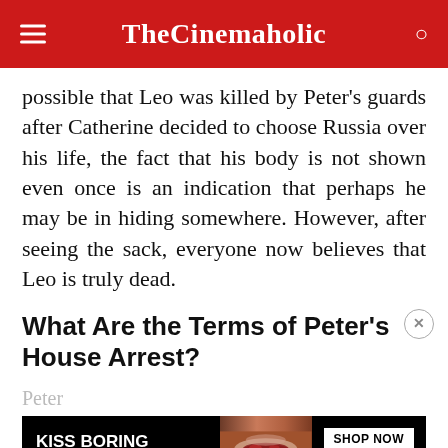TheCinemaholic
possible that Leo was killed by Peter’s guards after Catherine decided to choose Russia over his life, the fact that his body is not shown even once is an indication that perhaps he may be in hiding somewhere. However, after seeing the sack, everyone now believes that Leo is truly dead.
What Are the Terms of Peter’s House Arrest?
Peter
[Figure (other): Macy’s advertisement banner with woman and red lips, text: KISS BORING LIPS GOODBYE, SHOP NOW, macy’s]
terms ... of power. Whilst Catherine wants him to move.